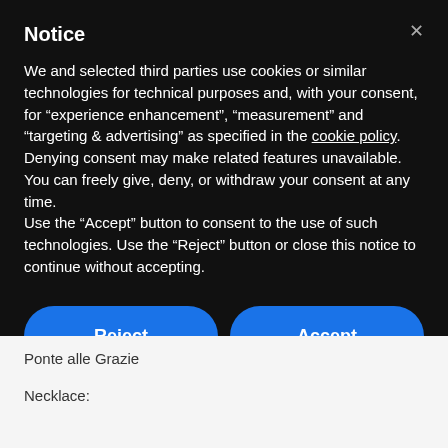Notice
We and selected third parties use cookies or similar technologies for technical purposes and, with your consent, for “experience enhancement”, “measurement” and “targeting & advertising” as specified in the cookie policy. Denying consent may make related features unavailable.
You can freely give, deny, or withdraw your consent at any time.
Use the “Accept” button to consent to the use of such technologies. Use the “Reject” button or close this notice to continue without accepting.
Reject
Accept
Learn more and customize
Ponte alle Grazie
Necklace: